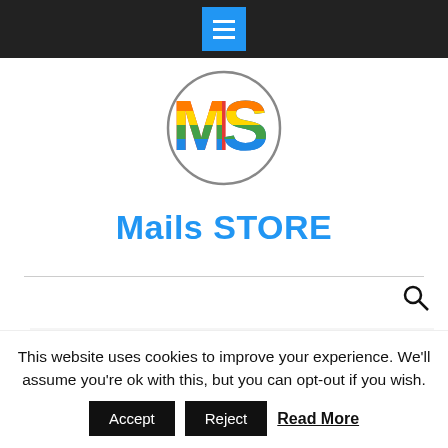Navigation menu bar with hamburger button
[Figure (logo): Mails Store logo: circle with colorful rainbow 'MS' letters]
Mails STORE
If you're still not convinced, we've put down some of the salient features of our dermatologist email address list.
As part of a data verification process, 1.2 million
This website uses cookies to improve your experience. We'll assume you're ok with this, but you can opt-out if you wish.
Accept   Reject   Read More